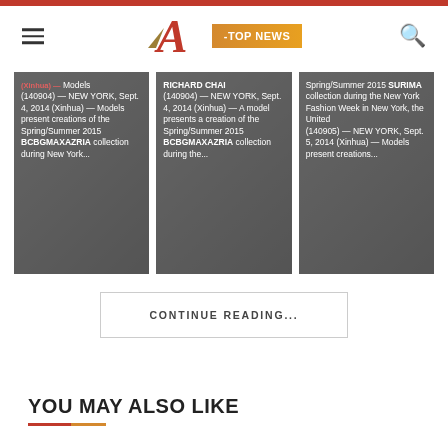A -TOP NEWS
[Figure (photo): Three overlapping news article cards showing fashion models at New York Fashion Week 2014, featuring BCBGMAXAZRIA and Richard Chai Spring/Summer 2015 collections and SURIMA collection. Text overlays show Xinhua wire captions dated Sept. 4-5, 2014.]
CONTINUE READING...
YOU MAY ALSO LIKE